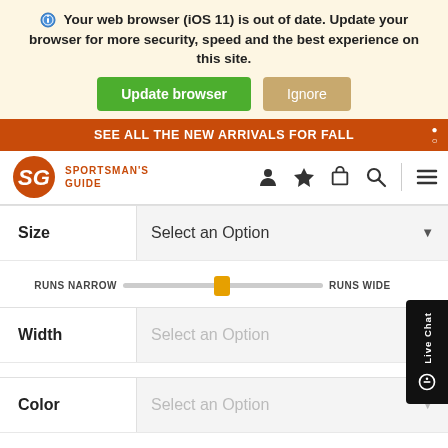Your web browser (iOS 11) is out of date. Update your browser for more security, speed and the best experience on this site.
[Figure (screenshot): Update browser and Ignore buttons]
SEE ALL THE NEW ARRIVALS FOR FALL
[Figure (logo): Sportsman's Guide logo with SG letters and deer icon]
[Figure (screenshot): Navigation icons: user, star, cart, search, hamburger menu]
Size  Select an Option
[Figure (infographic): Fit slider from RUNS NARROW to RUNS WIDE with yellow thumb in center]
Width  Select an Option
Color  Select an Option
[Figure (screenshot): Live Chat button on right edge]